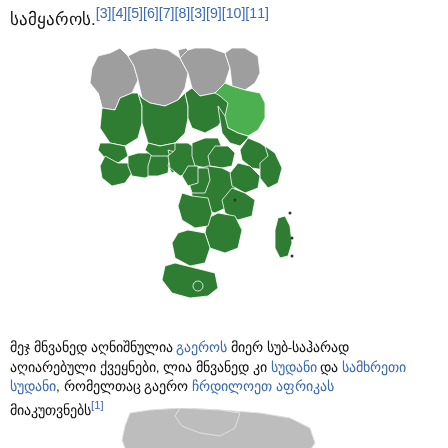სამყაროს.[3][4][5][6][7][8][3][9][10][11]
[Figure (map): Map of Africa showing sub-Saharan African countries highlighted in dark green, with Sudan highlighted in lighter green, and North African countries in gray.]
მეჯ მნვანედ აღნიშნულია გაეროს მიერ სუბ-საჰარად აღიარებული ქვეყნები, ლია მნვანედ კი სუდანი და სამხრეთი სუდანი, რომელთაც გაერო ჩრდილოეთ აფრიკას მიაკუთვნებს[1]
[Figure (map): Partial map showing North Africa in gray at the bottom of the page.]